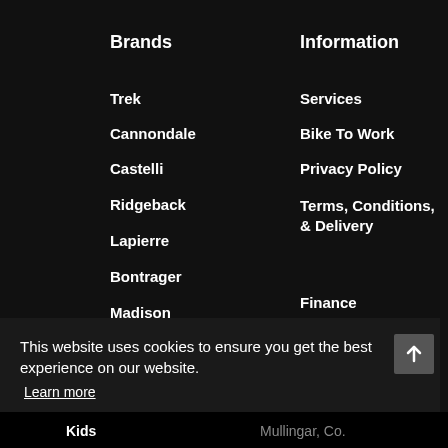Brands
Trek
Cannondale
Castelli
Ridgeback
Lapierre
Bontrager
Madison
Information
Services
Bike To Work
Privacy Policy
Terms, Conditions, & Delivery
Finance
This website uses cookies to ensure you get the best experience on our website.
Learn more
Got it!
Kids
Mullingar, Co.